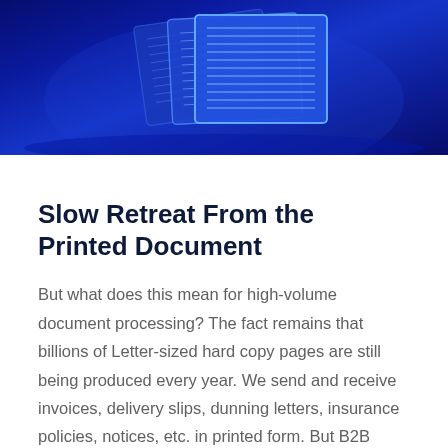[Figure (illustration): Blue abstract digital illustration showing layered glowing document or data panels floating in a dark blue background with light blue digital lines and grid patterns.]
Slow Retreat From the Printed Document
But what does this mean for high-volume document processing? The fact remains that billions of Letter-sized hard copy pages are still being produced every year. We send and receive invoices, delivery slips, dunning letters, insurance policies, notices, etc. in printed form. But B2B commerce is also turning more frequently to electronic document exchange, including document processing (e.g., using formats